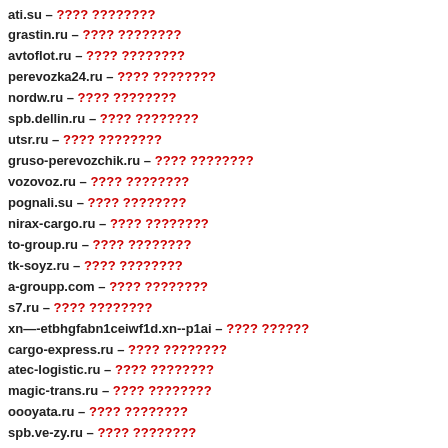ati.su – ???? ????????
grastin.ru – ???? ????????
avtoflot.ru – ???? ????????
perevozka24.ru – ???? ????????
nordw.ru – ???? ????????
spb.dellin.ru – ???? ????????
utsr.ru – ???? ????????
gruso-perevozchik.ru – ???? ????????
vozovoz.ru – ???? ????????
pognali.su – ???? ????????
nirax-cargo.ru – ???? ????????
to-group.ru – ???? ????????
tk-soyz.ru – ???? ????????
a-groupp.com – ???? ????????
s7.ru – ???? ????????
xn—-etbhgfabn1ceiwf1d.xn--p1ai – ???? ??????
cargo-express.ru – ???? ????????
atec-logistic.ru – ???? ????????
magic-trans.ru – ???? ????????
oooyata.ru – ???? ????????
spb.ve-zy.ru – ???? ????????
tlkregion.ru – ???? ????????
xn—-8sbahcht2a7aqpmh.xn--p1ai – ???? ??????
wblitztrans.ru – ???? ????????
vneshtrans.com – ???? ????????